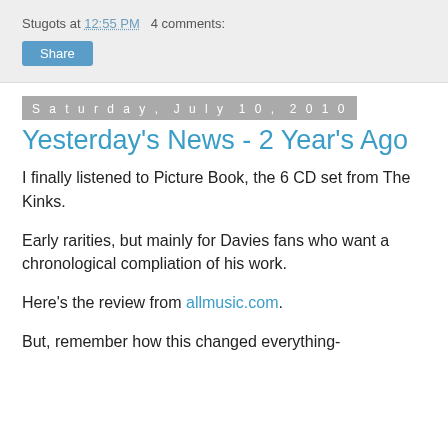Stugots at 12:55 PM   2 comments:
Share
Saturday, July 10, 2010
Yesterday's News - 2 Year's Ago
I finally listened to Picture Book, the 6 CD set from The Kinks.
Early rarities, but mainly for Davies fans who want a chronological compliation of his work.
Here's the review from allmusic.com.
But, remember how this changed everything-